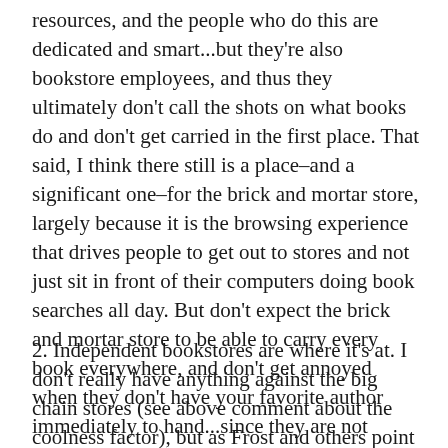resources, and the people who do this are dedicated and smart...but they're also bookstore employees, and thus they ultimately don't call the shots on what books do and don't get carried in the first place. That said, I think there still is a place–and a significant one–for the brick and mortar store, largely because it is the browsing experience that drives people to get out to stores and not just sit in front of their computers doing book searches all day. But don't expect the brick and mortar store to be able to carry every book everywhere, and don't get annoyed when they don't have your favorite author immediately to hand...since they are not Amazon, and have to maintain costs at some level. Which brings me to:
2. Independent bookstores are where it's at. I don't really have anything against the big chain stores (see above comment about the coolness factor), but as Frost and others point out, there's pretty much no